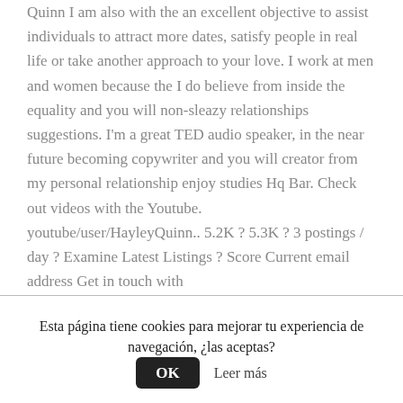Quinn I am also with the an excellent objective to assist individuals to attract more dates, satisfy people in real life or take another approach to your love. I work at men and women because the I do believe from inside the equality and you will non-sleazy relationships suggestions. I'm a great TED audio speaker, in the near future becoming copywriter and you will creator from my personal relationship enjoy studies Hq Bar. Check out videos with the Youtube. youtube/user/HayleyQuinn.. 5.2K ? 5.3K ? 3 postings / day ? Examine Latest Listings ? Score Current email address Get in touch with
66. Built Zeus
All of us I'm the new Based Lord of your own Air,
Esta página tiene cookies para mejorar tu experiencia de navegación, ¿las aceptas? OK Leer más